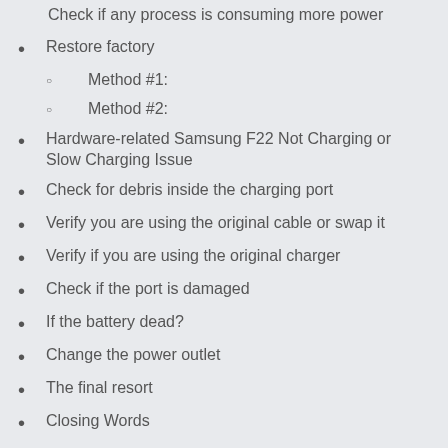Check if any process is consuming more power
Restore factory
Method #1:
Method #2:
Hardware-related Samsung F22 Not Charging or Slow Charging Issue
Check for debris inside the charging port
Verify you are using the original cable or swap it
Verify if you are using the original charger
Check if the port is damaged
If the battery dead?
Change the power outlet
The final resort
Closing Words